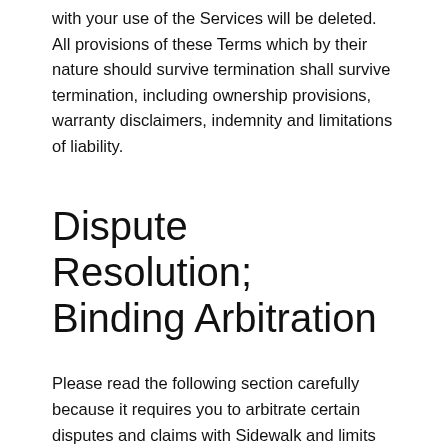with your use of the Services will be deleted. All provisions of these Terms which by their nature should survive termination shall survive termination, including ownership provisions, warranty disclaimers, indemnity and limitations of liability.
Dispute Resolution; Binding Arbitration
Please read the following section carefully because it requires you to arbitrate certain disputes and claims with Sidewalk and limits the manner in which you can seek relief from us, unless you opt out of arbitration by following the instructions set forth below. No class or representative actions or arbitrations are allowed under